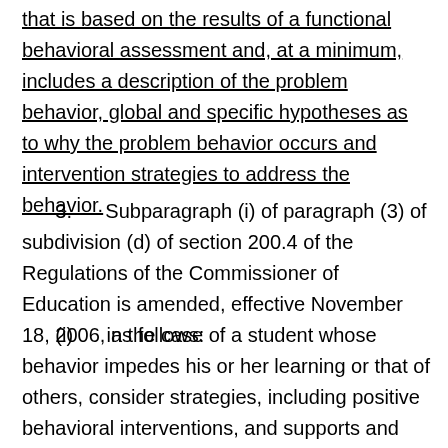that is based on the results of a functional behavioral assessment and, at a minimum, includes a description of the problem behavior, global and specific hypotheses as to why the problem behavior occurs and intervention strategies to address the behavior.
3.    Subparagraph (i) of paragraph (3) of subdivision (d) of section 200.4 of the Regulations of the Commissioner of Education is amended, effective November 18, 2006, as follows:
(i)   in the case of a student whose behavior impedes his or her learning or that of others, consider strategies, including positive behavioral interventions, and supports and other strategies to address that behavior that are consistent with the requirements in section 200.22 of this